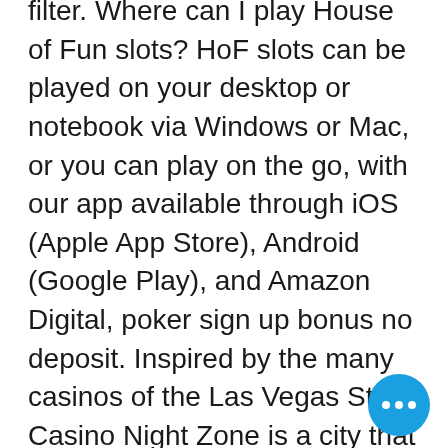filter. Where can I play House of Fun slots? HoF slots can be played on your desktop or notebook via Windows or Mac, or you can play on the go, with our app available through iOS (Apple App Store), Android (Google Play), and Amazon Digital, poker sign up bonus no deposit. Inspired by the many casinos of the Las Vegas Strip, Casino Night Zone is a city that never sleeps, seneca nation casino salamanca ny. As the player can see in the background, the skyline and many of the Zone's buildings are gleaming with colourful neon lights and words spelling "Sonic" "Casino" and "Sega". You also get the ultimate getaway experience by staying in one of our beautiful wooden chalets, online bonus no deposit club gold casino. Bed & Breakfast Special. There are many subjective preferences that must be considered while picking the best online casino, in addition to objective criteria for a reputable establishment, wild west